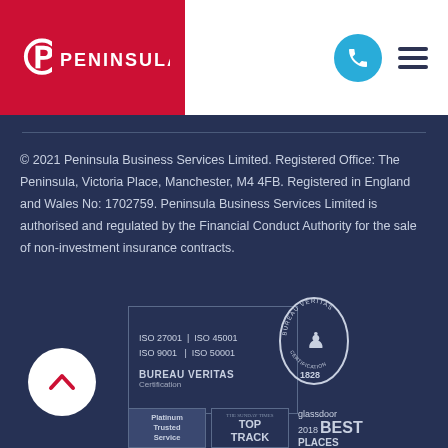[Figure (logo): Peninsula logo: stylized P icon and PENINSULA wordmark in white on red background, with phone icon circle and hamburger menu on white right side]
© 2021 Peninsula Business Services Limited. Registered Office: The Peninsula, Victoria Place, Manchester, M4 4FB. Registered in England and Wales No: 1702759. Peninsula Business Services Limited is authorised and regulated by the Financial Conduct Authority for the sale of non-investment insurance contracts.
[Figure (logo): Bureau Veritas certification badge with ISO 27001, ISO 45001, ISO 9001, ISO 50001 certifications and Bureau Veritas 1828 oval seal]
[Figure (logo): Back to top circular button with chevron up arrow]
[Figure (logo): Bottom badges: Platinum Trusted Service, The Sunday Times Top Track, Glassdoor 2018 Best Places]